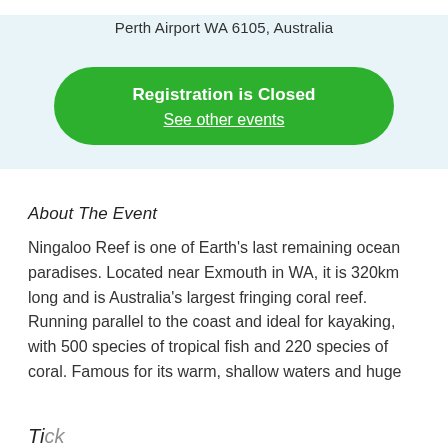Perth Airport WA 6105, Australia
[Figure (other): Green rounded button with text 'Registration is Closed' and link 'See other events']
About The Event
Ningaloo Reef is one of Earth's last remaining ocean paradises. Located near Exmouth in WA, it is 320km long and is Australia's largest fringing coral reef. Running parallel to the coast and ideal for kayaking, with 500 species of tropical fish and 220 species of coral. Famous for its warm, shallow waters and huge
Tickets